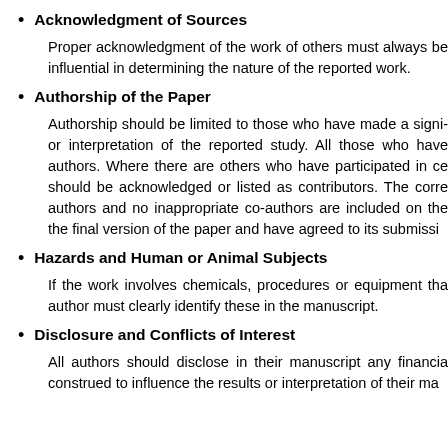Acknowledgment of Sources
Proper acknowledgment of the work of others must always be influential in determining the nature of the reported work.
Authorship of the Paper
Authorship should be limited to those who have made a significant contribution to the conception, design, execution, or interpretation of the reported study. All those who have made significant contributions should be listed as co-authors. Where there are others who have participated in certain substantive aspects of the research project, they should be acknowledged or listed as contributors. The corresponding author should ensure that all appropriate co-authors and no inappropriate co-authors are included on the paper, and that all co-authors have seen and approved the final version of the paper and have agreed to its submission for publication.
Hazards and Human or Animal Subjects
If the work involves chemicals, procedures or equipment that have any unusual hazards inherent in their use, the author must clearly identify these in the manuscript.
Disclosure and Conflicts of Interest
All authors should disclose in their manuscript any financial or other substantive conflict of interest that might be construed to influence the results or interpretation of their manuscript.